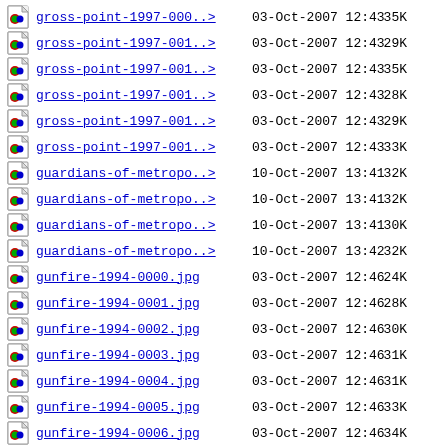gross-point-1997-000..>  03-Oct-2007 12:43   35K
gross-point-1997-001..>  03-Oct-2007 12:43   29K
gross-point-1997-001..>  03-Oct-2007 12:43   35K
gross-point-1997-001..>  03-Oct-2007 12:43   28K
gross-point-1997-001..>  03-Oct-2007 12:43   29K
gross-point-1997-001..>  03-Oct-2007 12:43   33K
guardians-of-metropo..>  10-Oct-2007 13:41   32K
guardians-of-metropo..>  10-Oct-2007 13:41   32K
guardians-of-metropo..>  10-Oct-2007 13:41   30K
guardians-of-metropo..>  10-Oct-2007 13:42   32K
gunfire-1994-0000.jpg   03-Oct-2007 12:46   24K
gunfire-1994-0001.jpg   03-Oct-2007 12:46   28K
gunfire-1994-0002.jpg   03-Oct-2007 12:46   30K
gunfire-1994-0003.jpg   03-Oct-2007 12:46   31K
gunfire-1994-0004.jpg   03-Oct-2007 12:46   31K
gunfire-1994-0005.jpg   03-Oct-2007 12:46   33K
gunfire-1994-0006.jpg   03-Oct-2007 12:46   34K